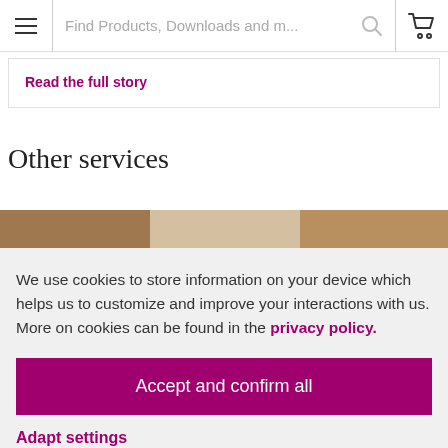Find Products, Downloads and m...
Read the full story
Other services
[Figure (photo): Partial view of a photo strip showing other services cards]
We use cookies to store information on your device which helps us to customize and improve your interactions with us. More on cookies can be found in the privacy policy.
Accept and confirm all
Adapt settings